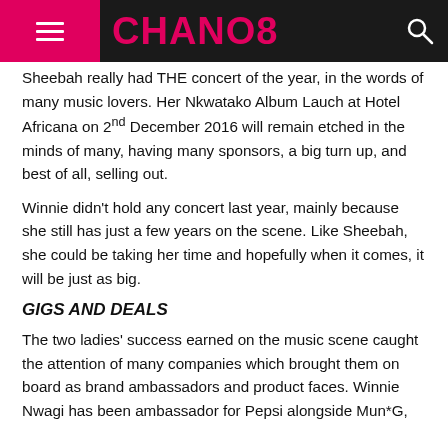CHANO8
Sheebah really had THE concert of the year, in the words of many music lovers. Her Nkwatako Album Lauch at Hotel Africana on 2nd December 2016 will remain etched in the minds of many, having many sponsors, a big turn up, and best of all, selling out.
Winnie didn't hold any concert last year, mainly because she still has just a few years on the scene. Like Sheebah, she could be taking her time and hopefully when it comes, it will be just as big.
GIGS AND DEALS
The two ladies' success earned on the music scene caught the attention of many companies which brought them on board as brand ambassadors and product faces. Winnie Nwagi has been ambassador for Pepsi alongside Mun*G,